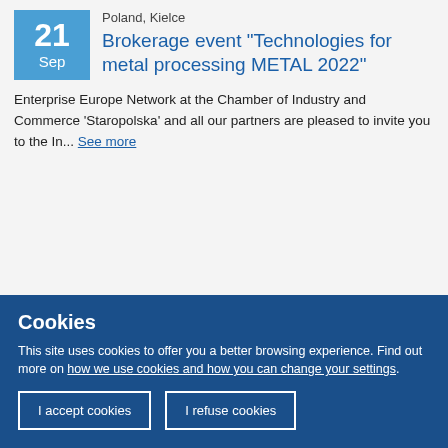Poland, Kielce
Brokerage event "Technologies for metal processing METAL 2022"
Enterprise Europe Network at the Chamber of Industry and Commerce 'Staropolska' and all our partners are pleased to invite you to the In... See more
Nederland, Zwolle
The Vanguard Initiative
Cookies
This site uses cookies to offer you a better browsing experience. Find out more on how we use cookies and how you can change your settings.
I accept cookies
I refuse cookies